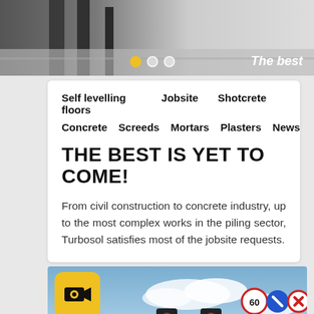[Figure (photo): Top banner image showing a construction or industrial site, with slider navigation dots and 'The best' text overlay]
Self levelling floors    Jobsite    Shotcrete
Concrete   Screeds   Mortars   Plasters   News
THE BEST IS YET TO COME!
From civil construction to concrete industry, up to the most complex works in the piling sector, Turbosol satisfies most of the jobsite requests.
[Figure (photo): Bottom image showing traffic lights, road signs (60 speed limit, no parking), street scene with blue sky and a yellow app icon on the left]